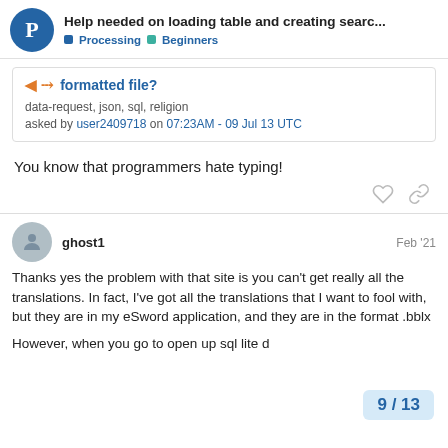Help needed on loading table and creating searc... | Processing | Beginners
formatted file?
data-request, json, sql, religion
asked by user2409718 on 07:23AM - 09 Jul 13 UTC
You know that programmers hate typing!
ghost1  Feb '21
Thanks yes the problem with that site is you can't get really all the translations. In fact, I've got all the translations that I want to fool with, but they are in my eSword application, and they are in the format .bblx
However, when you go to open up sql lite d
9 / 13